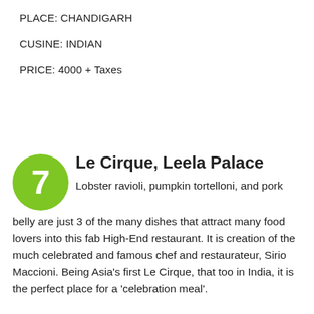PLACE: CHANDIGARH
CUSINE: INDIAN
PRICE: 4000 + Taxes
Le Cirque, Leela Palace
Lobster ravioli, pumpkin tortelloni, and pork belly are just 3 of the many dishes that attract many food lovers into this fab High-End restaurant. It is creation of the much celebrated and famous chef and restaurateur, Sirio Maccioni. Being Asia's first Le Cirque, that too in India, it is the perfect place for a 'celebration meal'.